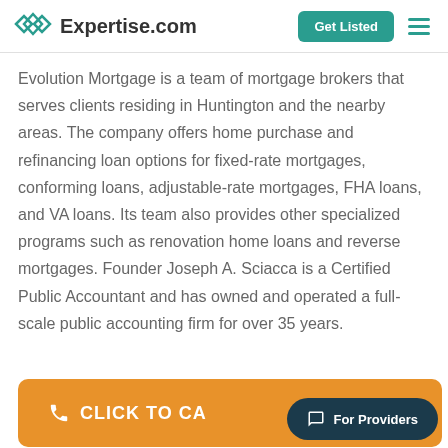Expertise.com
Evolution Mortgage is a team of mortgage brokers that serves clients residing in Huntington and the nearby areas. The company offers home purchase and refinancing loan options for fixed-rate mortgages, conforming loans, adjustable-rate mortgages, FHA loans, and VA loans. Its team also provides other specialized programs such as renovation home loans and reverse mortgages. Founder Joseph A. Sciacca is a Certified Public Accountant and has owned and operated a full-scale public accounting firm for over 35 years.
[Figure (other): Orange button with phone icon and text CLICK TO CA[LL] partially visible, overlapped by a dark teal pill-shaped button labeled For Providers with a chat bubble icon]